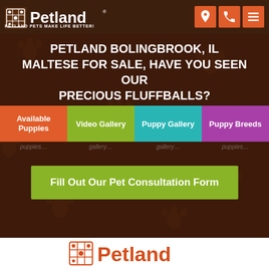[Figure (logo): Petland logo in white with tagline 'Petland Pets Make Life Better!' on dark brown header bar]
[Figure (infographic): Three orange icon buttons: map pin, phone, hamburger menu]
PETLAND BOLINGBROOK, IL MALTESE FOR SALE, HAVE YOU SEEN OUR PRECIOUS FLUFFBALLS?
Available Puppies
Video Gallery
Puppy Gallery
Puppy Breeds
Fill Out Our Pet Consultation Form
[Figure (logo): Petland logo in orange on white background]